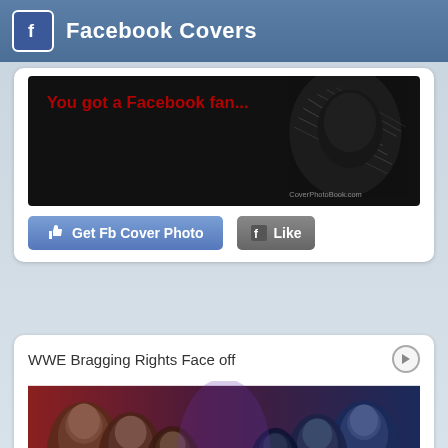Facebook Covers
[Figure (screenshot): Partially visible Facebook cover photo with dark background and stylized figure text 'You got a Facebook fan']
Get Fb Cover Photo
Like
WWE Bragging Rights Face off
[Figure (photo): WWE Bragging Rights promotional image showing multiple wrestlers facing off in two groups against a dramatic red and blue background]
Get Fb Cover Photo
Like
Girl Face Dark Hand
[Figure (photo): Dark atmospheric image of a girl's face with decorative face paint and glowing eyes against a black background]